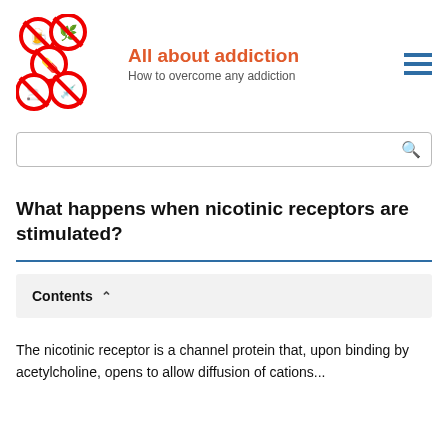[Figure (logo): All about addiction website logo with five red prohibition/no symbols over various items (cannabis leaf, drink, pills, syringe, etc.)]
All about addiction
How to overcome any addiction
What happens when nicotinic receptors are stimulated?
Contents
The nicotinic receptor is a channel protein that, upon binding by acetylcholine, opens to allow diffusion of cations...